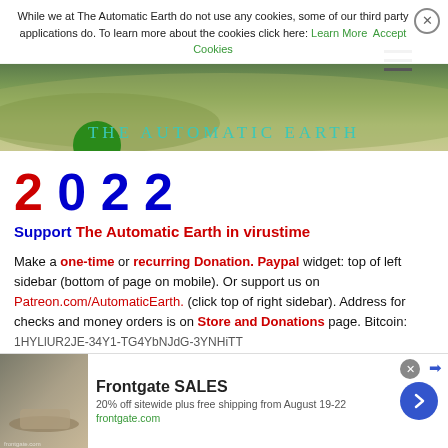While we at The Automatic Earth do not use any cookies, some of our third party applications do. To learn more about the cookies click here: Learn More  Accept Cookies
[Figure (illustration): The Automatic Earth website header banner showing an aerial landscape view with green circle logo and teal text 'THE AUTOMATIC EARTH']
2022
Support The Automatic Earth in virustime
Make a one-time or recurring Donation. Paypal widget: top of left sidebar (bottom of page on mobile). Or support us on Patreon.com/AutomaticEarth. (click top of right sidebar). Address for checks and money orders is on Store and Donations page. Bitcoin: 1HYLlUR2JE-34Y1-TG4YbNJdG-3YNHiTT
[Figure (screenshot): Frontgate SALES advertisement banner: 20% off sitewide plus free shipping from August 19-22, frontgate.com, with furniture photo and blue arrow button]